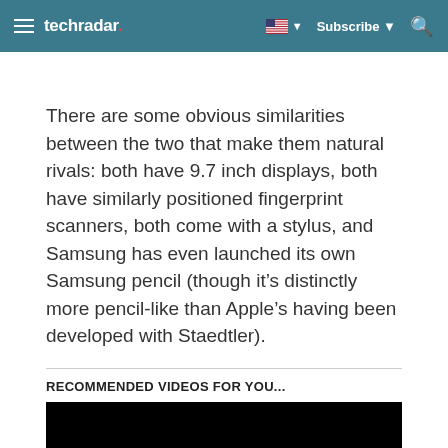techradar | Subscribe | Search
There are some obvious similarities between the two that make them natural rivals: both have 9.7 inch displays, both have similarly positioned fingerprint scanners, both come with a stylus, and Samsung has even launched its own Samsung pencil (though it’s distinctly more pencil-like than Apple’s having been developed with Staedtler).
RECOMMENDED VIDEOS FOR YOU...
[Figure (other): Black video player area]